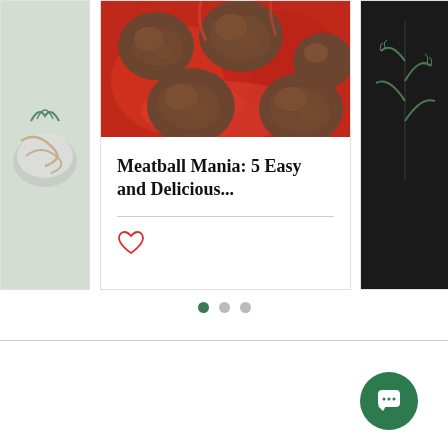[Figure (photo): Carousel of recipe cards. Left partial card shows a bowl with noodles/greens on light background. Center card shows a photo of meatballs in red tomato sauce from overhead, with title 'Meatball Mania: 5 Easy and Delicious...' and a heart/like icon below a divider. Right partial card shows herbs on dark background.]
Meatball Mania: 5 Easy and Delicious...
[Figure (infographic): Three pagination dots: first dot is dark green (active), second and third are light gray.]
[Figure (other): Dark green circular chat button with white speech bubble icon, on a white page background.]